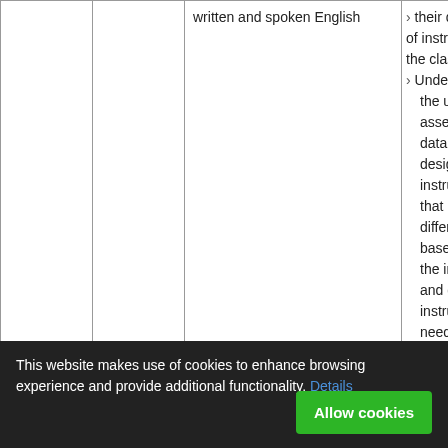|  |  | written and spoken English | their delivery of instruction in the classroom
› Understands the use of assessment data to design instruction that is differentiated based upon the individual and group instructional needs of students |
This website makes use of cookies to enhance browsing experience and provide additional functionality. Details